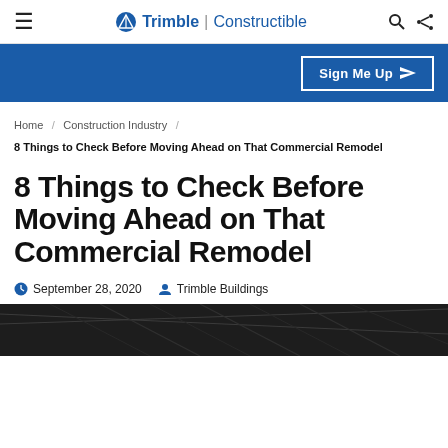≡  Trimble | Constructible  🔍  ⬡
Sign Me Up ➤
Home / Construction Industry / 8 Things to Check Before Moving Ahead on That Commercial Remodel
8 Things to Check Before Moving Ahead on That Commercial Remodel
September 28, 2020  Trimble Buildings
[Figure (photo): Interior construction photo showing ceiling structure of a commercial building under remodel]